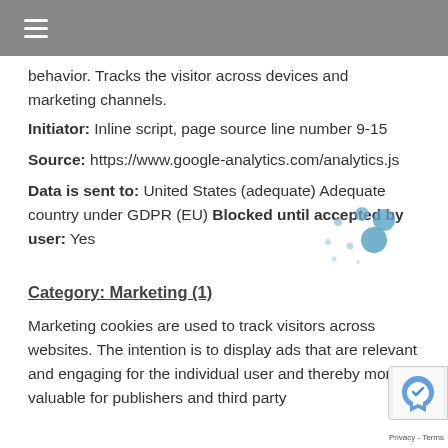≡ (menu icon)
behavior. Tracks the visitor across devices and marketing channels.
Initiator: Inline script, page source line number 9-15
Source: https://www.google-analytics.com/analytics.js
Data is sent to: United States (adequate) Adequate country under GDPR (EU) Blocked until accepted by user: Yes
Category: Marketing (1)
Marketing cookies are used to track visitors across websites. The intention is to display ads that are relevant and engaging for the individual user and thereby more valuable for publishers and third party advertising. Marketing cookies are the most common type of cookies.